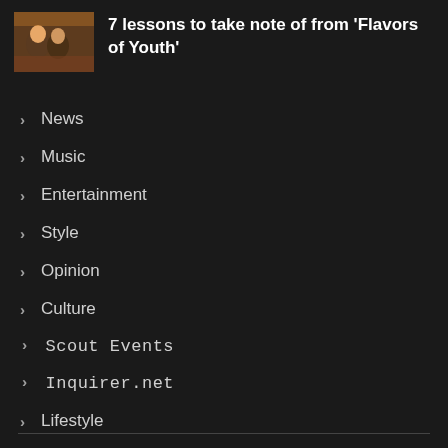7 lessons to take note of from 'Flavors of Youth'
News
Music
Entertainment
Style
Opinion
Culture
Scout Events
Inquirer.net
Lifestyle